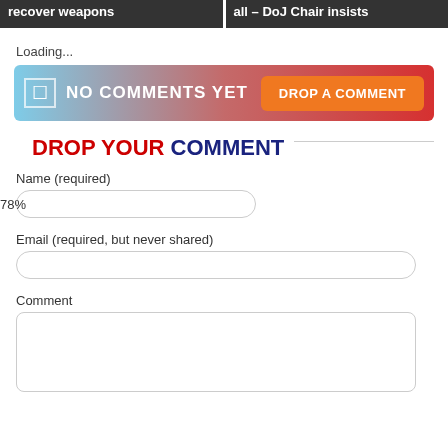recover weapons | all – DoJ Chair insists
Loading...
NO COMMENTS YET   DROP A COMMENT
DROP YOUR COMMENT
Name (required)
78%
Email (required, but never shared)
Comment